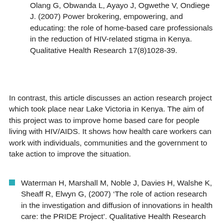Olang G, Obwanda L, Ayayo J, Ogwethe V, Ondiege J. (2007) Power brokering, empowering, and educating: the role of home-based care professionals in the reduction of HIV-related stigma in Kenya. Qualitative Health Research 17(8)1028-39.
In contrast, this article discusses an action research project which took place near Lake Victoria in Kenya. The aim of this project was to improve home based care for people living with HIV/AIDS. It shows how health care workers can work with individuals, communities and the government to take action to improve the situation.
Waterman H, Marshall M, Noble J, Davies H, Walshe K, Sheaff R, Elwyn G, (2007) ‘The role of action research in the investigation and diffusion of innovations in health care: the PRIDE Project’. Qualitative Health Research 17